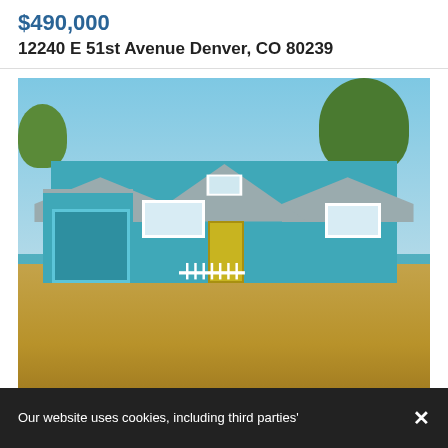$490,000
12240 E 51st Avenue Denver, CO 80239
[Figure (photo): Exterior photo of a teal/blue single-story ranch home with gray roof, yellow front door, white trim windows, attached two-car garage on the left, xeriscaped front yard with dry grass, and large trees. Blue sky background.]
Our website uses cookies, including third parties'